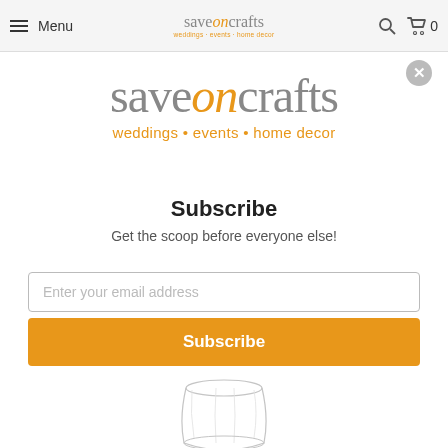Menu | saveoncrafts weddings · events · home decor | Search | Cart 0
[Figure (logo): saveoncrafts logo with tagline: weddings • events • home decor]
Subscribe
Get the scoop before everyone else!
Enter your email address
Subscribe